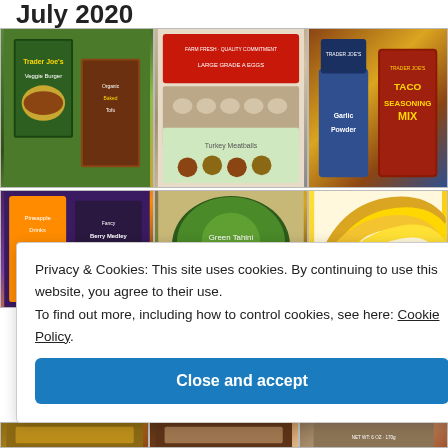July 2020
[Figure (photo): Grid of Trader Joe's food products including veggie burgers, organic baked tofu, turkey meatballs, ground meat, garlic powder, and taco seasoning mix in top row; pineapple drink, berry medley, green tahini dip, and bananas in middle row]
Privacy & Cookies: This site uses cookies. By continuing to use this website, you agree to their use.
To find out more, including how to control cookies, see here: Cookie Policy
Close and accept
[Figure (photo): Bottom strip of food product images]